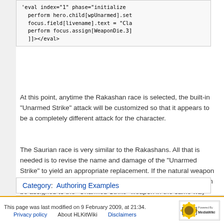[Figure (screenshot): Code block showing eval XML snippet with hero.child[wpUnarmed].set, focus.field[livename].text assignment, and perform focus.assign[WeaponDie.3] lines]
At this point, anytime the Rakashan race is selected, the built-in "Unarmed Strike" attack will be customized so that it appears to be a completely different attack for the character.
The Saurian race is very similar to the Rakashans. All that is needed is to revise the name and damage of the "Unarmed Strike" to yield an appropriate replacement. If the natural weapon confers special abilities that require new weapon tags, those can be assigned to the "Unarmed Strike" weapon in the same way that fields are being overridden.
Category:  Authoring Examples
This page was last modified on 9 February 2009, at 21:34.
Privacy policy    About HLKitWiki    Disclaimers